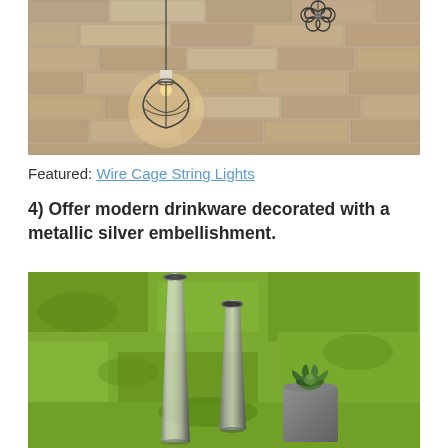[Figure (photo): Wire cage string lights hanging against a stone/brick wall. Shows decorative industrial-style cage pendant lights with Edison bulbs mounted on a rustic stone wall background.]
Featured: Wire Cage String Lights
4) Offer modern drinkware decorated with a metallic silver embellishment.
[Figure (photo): Two tall metallic silver drinkware glasses (champagne flutes with silver gradient/ombre effect) sitting on green moss or grass, alongside a small concrete planter with a succulent plant.]